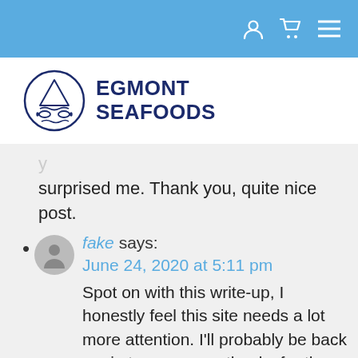[Figure (logo): Egmont Seafoods logo with circular fish and wave emblem and bold navy text]
surprised me. Thank you, quite nice post.
fake says: June 24, 2020 at 5:11 pm
Spot on with this write-up, I honestly feel this site needs a lot more attention. I'll probably be back again to see more, thanks for the advice.